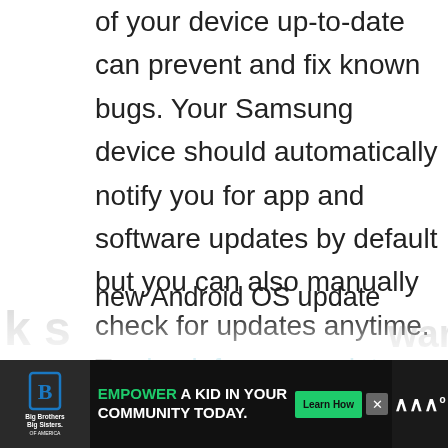of your device up-to-date can prevent and fix known bugs. Your Samsung device should automatically notify you for app and software updates by default but you can also manually check for updates anytime. To check for app updates, just open the Play Store app. If you want to know if there's any new Android OS update available, ware
[Figure (other): Advertisement banner at the bottom: Big Brothers Big Sisters of America logo on the left, center text 'EMPOWER A KID IN YOUR COMMUNITY TODAY.' with a 'Learn How' green button, close button (X), and a partially visible icon on the right.]